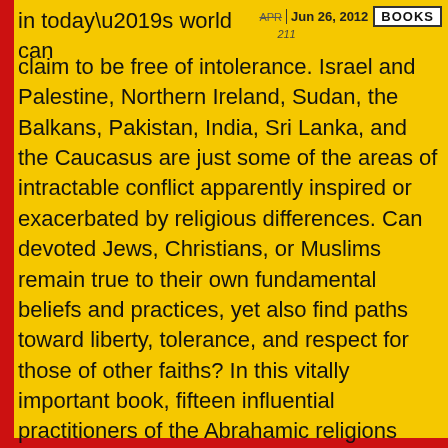Jun 26, 2012 | BOOKS
in today’s world can claim to be free of intolerance. Israel and Palestine, Northern Ireland, Sudan, the Balkans, Pakistan, India, Sri Lanka, and the Caucasus are just some of the areas of intractable conflict apparently inspired or exacerbated by religious differences. Can devoted Jews, Christians, or Muslims remain true to their own fundamental beliefs and practices, yet also find paths toward liberty, tolerance, and respect for those of other faiths? In this vitally important book, fifteen influential practitioners of the Abrahamic religions address religious liberty and tolerance from the perspectives of their own faith traditions. Former president Jimmy Carter, Rabbi Arik Ascherman, Indonesia’s first democratically elected president, Abdurrahman Wahid, and the other writers draw on their personal experiences